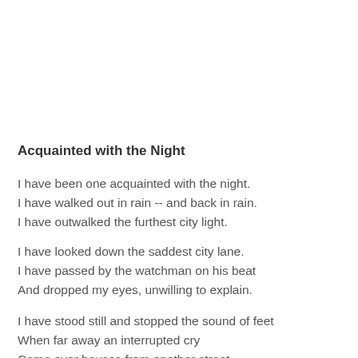Acquainted with the Night
I have been one acquainted with the night.
I have walked out in rain -- and back in rain.
I have outwalked the furthest city light.
I have looked down the saddest city lane.
I have passed by the watchman on his beat
And dropped my eyes, unwilling to explain.
I have stood still and stopped the sound of feet
When far away an interrupted cry
Came over houses from another street,